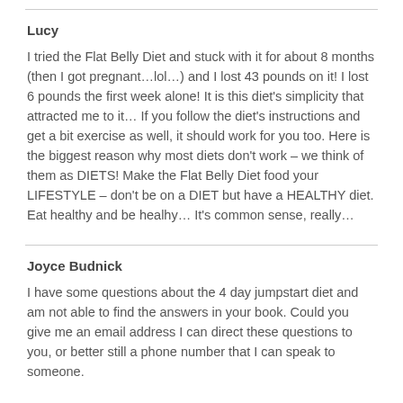Lucy
I tried the Flat Belly Diet and stuck with it for about 8 months (then I got pregnant…lol…) and I lost 43 pounds on it! I lost 6 pounds the first week alone! It is this diet's simplicity that attracted me to it… If you follow the diet's instructions and get a bit exercise as well, it should work for you too. Here is the biggest reason why most diets don't work – we think of them as DIETS! Make the Flat Belly Diet food your LIFESTYLE – don't be on a DIET but have a HEALTHY diet. Eat healthy and be healhy… It's common sense, really…
Joyce Budnick
I have some questions about the 4 day jumpstart diet and am not able to find the answers in your book. Could you give me an email address I can direct these questions to you, or better still a phone number that I can speak to someone.